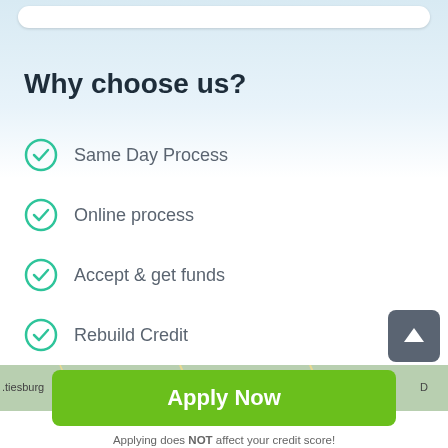Why choose us?
Same Day Process
Online process
Accept & get funds
Rebuild Credit
[Figure (screenshot): Map strip showing a partial map with highway 65 sign and the text '.tiesburg']
Apply Now
Applying does NOT affect your credit score!
No credit check to apply.